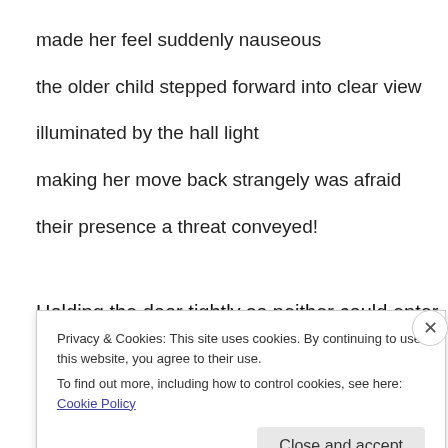made her feel suddenly nauseous
the older child stepped forward into clear view
illuminated by the hall light
making her move back strangely was afraid
their presence a threat conveyed!
Holding the door tightly so neither could enter
Privacy & Cookies: This site uses cookies. By continuing to use this website, you agree to their use.
To find out more, including how to control cookies, see here: Cookie Policy
Close and accept